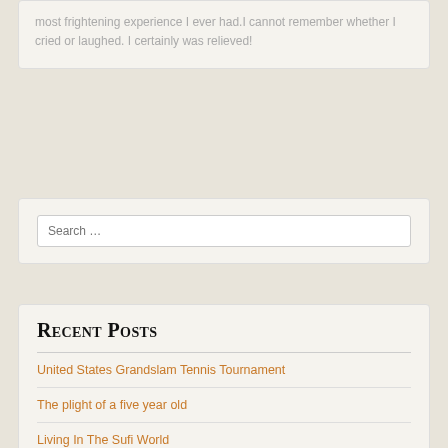most frightening experience I ever had.I cannot remember whether I cried or laughed. I certainly was relieved!
Search …
Recent Posts
United States Grandslam Tennis Tournament
The plight of a five year old
Living In The Sufi World
NBA Draft, June 23rd 2022